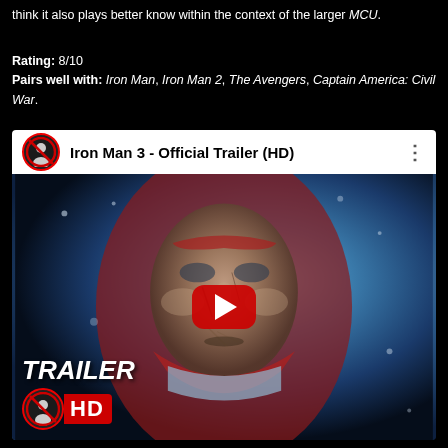think it also plays better know within the context of the larger MCU.
Rating: 8/10
Pairs well with: Iron Man, Iron Man 2, The Avengers, Captain America: Civil War.
[Figure (screenshot): YouTube embed showing Iron Man 3 Official Trailer (HD). Header with channel avatar logo and title 'Iron Man 3 - Official Trailer (HD)' and three-dot menu. Thumbnail showing Iron Man/Tony Stark face close-up with red/blue tones, debris particles, YouTube play button overlay, 'TRAILER' text and HD badge with logo in lower left.]